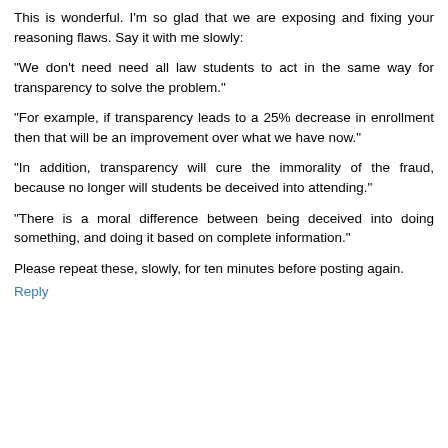This is wonderful. I'm so glad that we are exposing and fixing your reasoning flaws. Say it with me slowly:
"We don't need need all law students to act in the same way for transparency to solve the problem."
"For example, if transparency leads to a 25% decrease in enrollment then that will be an improvement over what we have now."
"In addition, transparency will cure the immorality of the fraud, because no longer will students be deceived into attending."
"There is a moral difference between being deceived into doing something, and doing it based on complete information."
Please repeat these, slowly, for ten minutes before posting again.
Reply